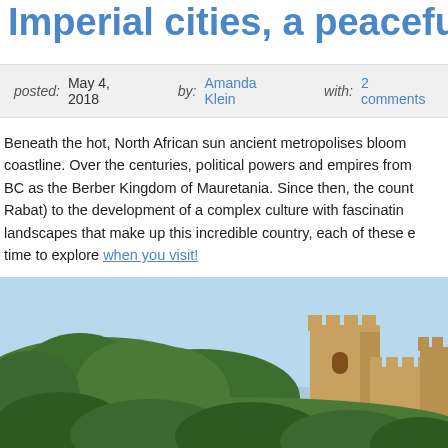Imperial cities, a peaceful p…
posted: May 4, 2018   by: Amanda Klein   with: 2 comments
Beneath the hot, North African sun ancient metropolises bloom… coastline. Over the centuries, political powers and empires from… BC as the Berber Kingdom of Mauretania. Since then, the count… Rabat) to the development of a complex culture with fascinatin… landscapes that make up this incredible country, each of these e… time to explore when you visit!
[Figure (photo): A Moroccan fortress or kasbah with crenellated walls and towers, surrounded by lush green trees under a blue sky.]